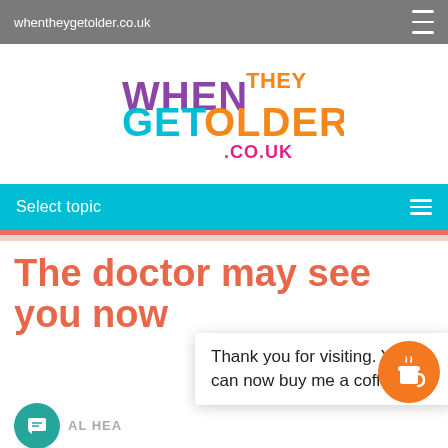whentheygetolder.co.uk
[Figure (logo): When They Get Older .co.uk logo with colorful text: WHEN in purple, THEY in orange, GET in cyan, OLDER in orange, .CO.UK in magenta/pink]
Select topic
The doctor may see you now
Thank you for visiting. You can now buy me a coffee!
AL HEA
Posted on 19th March 2019